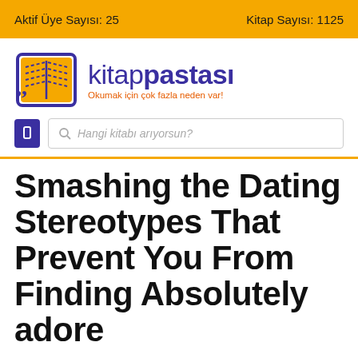Aktif Üye Sayısı: 25    Kitap Sayısı: 1125
[Figure (logo): Kitappastası logo with open book icon in blue and yellow, text 'kitappastası' in purple with tagline 'Okumak için çok fazla neden var!']
Hangi kitabı arıyorsun?
Smashing the Dating Stereotypes That Prevent You From Finding Absolutely adore